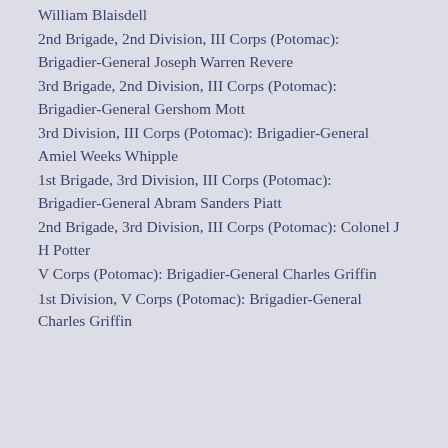William Blaisdell
2nd Brigade, 2nd Division, III Corps (Potomac): Brigadier-General Joseph Warren Revere
3rd Brigade, 2nd Division, III Corps (Potomac): Brigadier-General Gershom Mott
3rd Division, III Corps (Potomac): Brigadier-General Amiel Weeks Whipple
1st Brigade, 3rd Division, III Corps (Potomac): Brigadier-General Abram Sanders Piatt
2nd Brigade, 3rd Division, III Corps (Potomac): Colonel J H Potter
V Corps (Potomac): Brigadier-General Charles Griffin
1st Division, V Corps (Potomac): Brigadier-General Charles Griffin